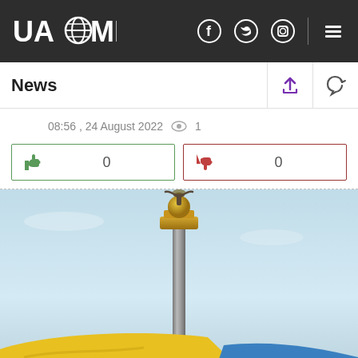UAZMI
News
08:56 , 24 August 2022  👁 1
[Figure (photo): Independence Monument in Kyiv, Ukraine. A tall column topped with a golden capital and a statue of Berehynia holding a wreath aloft. Ukrainian flag visible in the lower foreground against a light blue sky.]